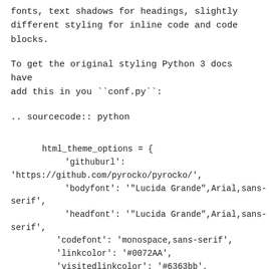fonts, text shadows for headings, slightly different styling for inline code and code blocks.
To get the original styling Python 3 docs have add this in you ``conf.py``:
.. sourcecode:: python
html_theme_options = {
            'githuburl':
'https://github.com/pyrocko/pyrocko/',
            'bodyfont': '"Lucida Grande",Arial,sans-serif',
            'headfont': '"Lucida Grande",Arial,sans-serif',
            'codefont': 'monospace,sans-serif',
            'linkcolor': '#0072AA',
            'visitedlinkcolor': '#6363bb',
            'extrastyling': False,
            'googlewebfonturl':
'http://fonts.googleapis.com/css?
family=Rubik+One|Kalam',